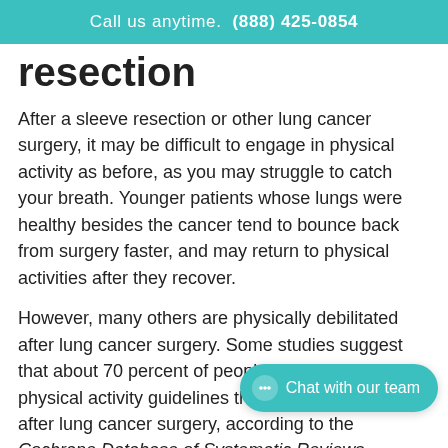Call us anytime. (888) 425-0854
resection
After a sleeve resection or other lung cancer surgery, it may be difficult to engage in physical activity as before, as you may struggle to catch your breath. Younger patients whose lungs were healthy besides the cancer tend to bounce back from surgery faster, and may return to physical activities after they recover.
However, many others are physically debilitated after lung cancer surgery. Some studies suggest that about 70 percent of people cannot meet physical activity guidelines three and a half years after lung cancer surgery, according to the Cochrane Database of Systematic Reviews.
Furthermore, a lung cancer diagno... lung cancer surgery, may lead to an increase in mental